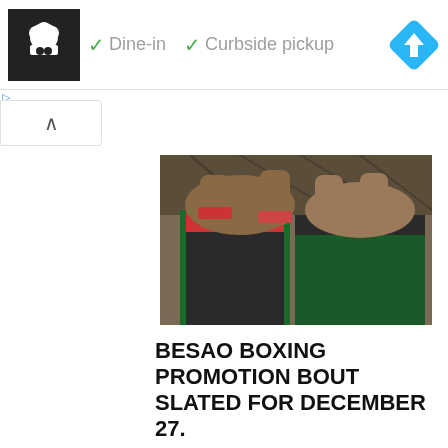[Figure (screenshot): Advertisement banner showing a restaurant logo (chef icon on black background), green checkmarks with 'Dine-in' and 'Curbside pickup' labels in grey, and a blue diamond-shaped navigation icon on the right.]
[Figure (photo): Two boxers clinching in a boxing ring, wearing colorful shorts (black/green and black/red waistband), photographed from the waist down. Indoor boxing venue visible in background.]
BESAO BOXING PROMOTION BOUT SLATED FOR DECEMBER 27.
By Orchestra Kamanga and Lovemore Katanda After staging boxing in capital city, Lilongwe, Besao Boxing Promotion is slated to stage bout at Metal Paradise on December 27.